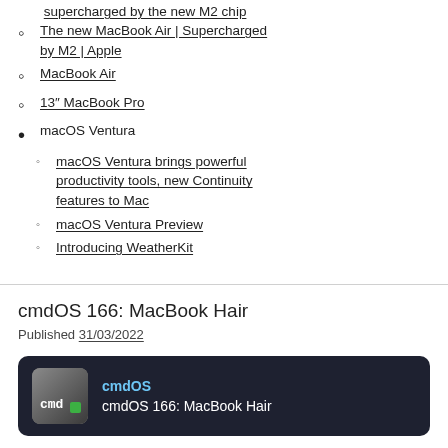supercharged by the new M2 chip (clipped top)
The new MacBook Air | Supercharged by M2 | Apple
MacBook Air
13” MacBook Pro
macOS Ventura
macOS Ventura brings powerful productivity tools, new Continuity features to Mac
macOS Ventura Preview
Introducing WeatherKit
cmdOS 166: MacBook Hair
Published 31/03/2022
[Figure (other): Podcast card with dark background showing cmdOS logo icon on the left and text 'cmdOS' and 'cmdOS 166: MacBook Hair' on the right]